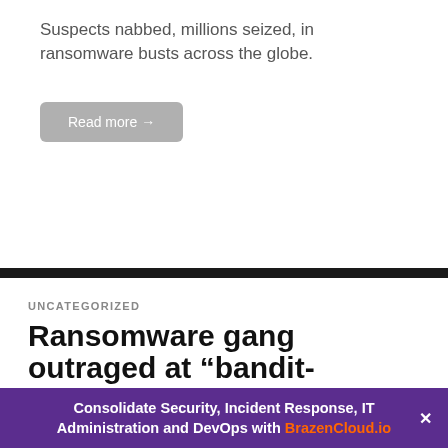Suspects nabbed, millions seized, in ransomware busts across the globe.
Read more →
UNCATEGORIZED
Ransomware gang outraged at “bandit-mugging behavior of the United States” after REvil group pushed offline
by Graham Cluley • October 26, 2021
The Conti...
Consolidate Security, Incident Response, IT Administration and DevOps with BrazenCloud.io